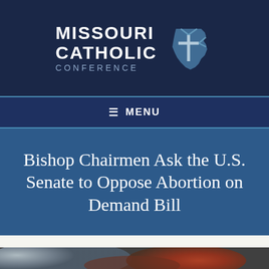[Figure (logo): Missouri Catholic Conference logo with cross and Missouri state shape icon on dark navy background]
≡ MENU
Bishop Chairmen Ask the U.S. Senate to Oppose Abortion on Demand Bill
[Figure (photo): Close-up photo of a fetus/embryo, partially visible at bottom of page]